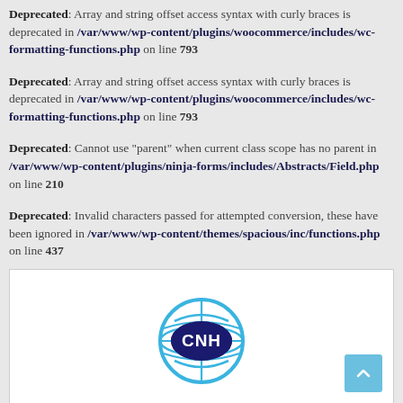Deprecated: Array and string offset access syntax with curly braces is deprecated in /var/www/wp-content/plugins/woocommerce/includes/wc-formatting-functions.php on line 793
Deprecated: Array and string offset access syntax with curly braces is deprecated in /var/www/wp-content/plugins/woocommerce/includes/wc-formatting-functions.php on line 793
Deprecated: Cannot use "parent" when current class scope has no parent in /var/www/wp-content/plugins/ninja-forms/includes/Abstracts/Field.php on line 210
Deprecated: Invalid characters passed for attempted conversion, these have been ignored in /var/www/wp-content/themes/spacious/inc/functions.php on line 437
[Figure (logo): CNH logo — blue globe outline with CNH letters in dark navy inside an oval, light blue circular ring around it]